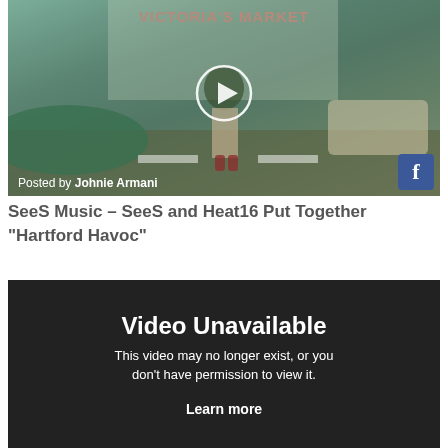[Figure (screenshot): Video thumbnail showing a man in a green shirt and khaki shorts standing in front of Victoria's Market store, with a play button overlay circle in the center. Text at bottom left reads 'Posted by Johnie Armani'. Facebook icon in bottom right corner.]
SeeS Music – SeeS and Heat16 Put Together "Hartford Havoc"
[Figure (screenshot): Dark video player embed showing 'Video Unavailable' message with text 'This video may no longer exist, or you don't have permission to view it.' and a 'Learn more' link.]